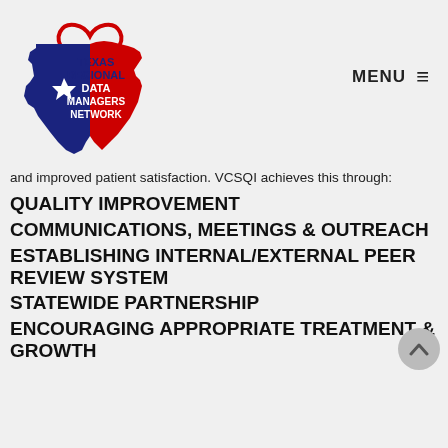[Figure (logo): Texas Regional Data Managers Network logo — Texas state shape in blue and red with a white star, red heart outline above, text 'TEXAS REGIONAL DATA MANAGERS NETWORK' inside the shape]
MENU ≡
and improved patient satisfaction. VCSQI achieves this through:
QUALITY IMPROVEMENT
COMMUNICATIONS, MEETINGS & OUTREACH
ESTABLISHING INTERNAL/EXTERNAL PEER REVIEW SYSTEM
STATEWIDE PARTNERSHIP
ENCOURAGING APPROPRIATE TREATMENT & GROWTH